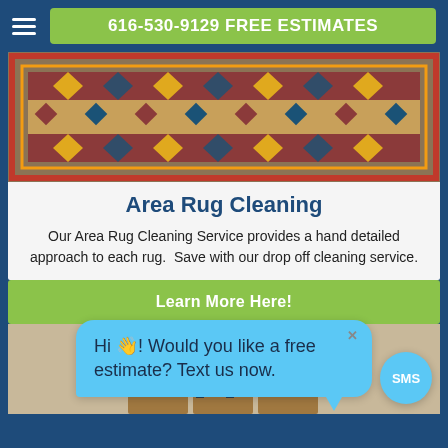616-530-9129 FREE ESTIMATES
[Figure (photo): Photo of a traditional patterned area rug laid flat, with geometric and floral designs in red, gold, black, and blue colors]
Area Rug Cleaning
Our Area Rug Cleaning Service provides a hand detailed approach to each rug.  Save with our drop off cleaning service.
Learn More Here!
Hi 👋! Would you like a free estimate? Text us now.
[Figure (photo): Photo of a man in a blue Top Clean shirt standing near wooden cabinet doors]